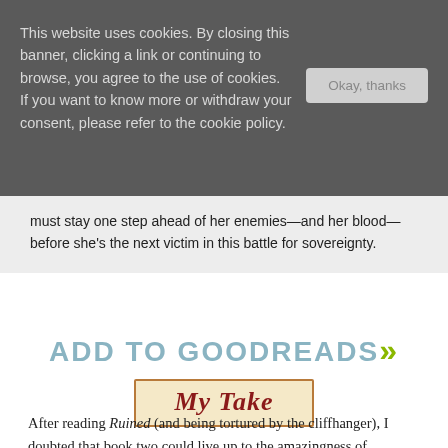This website uses cookies. By closing this banner, clicking a link or continuing to browse, you agree to the use of cookies. If you want to know more or withdraw your consent, please refer to the cookie policy.
Okay, thanks
must stay one step ahead of her enemies—and her blood—before she's the next victim in this battle for sovereignty.
ADD TO GOODREADS »
My Take
After reading Ruined (and being tortured by the cliffhanger), I doubted that book two could live up to the amazingness of